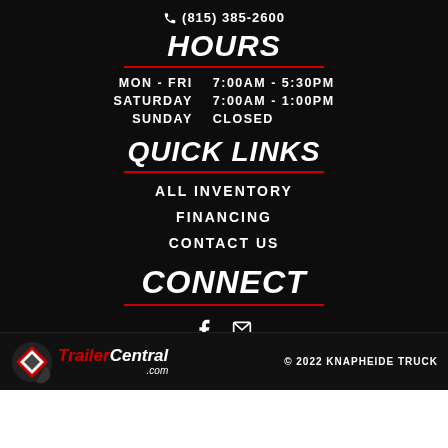(815) 385-2600
HOURS
| Day | Hours |
| --- | --- |
| MON - FRI | 7:00AM - 5:30PM |
| SATURDAY | 7:00AM - 1:00PM |
| SUNDAY | CLOSED |
QUICK LINKS
ALL INVENTORY
FINANCING
CONTACT US
CONNECT
[Figure (logo): Facebook and email icons]
[Figure (logo): TrailerCentral.com logo with red and white text and arrow icon]
© 2022 KNAPHEIDE TRUCK